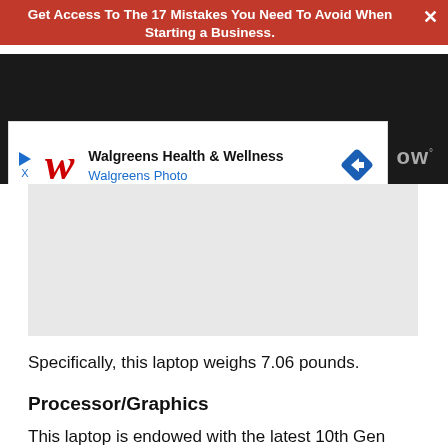Get Access To The 17 Mistakes You Need To Avoid When Starting a Business.
[Figure (screenshot): Dark header area with blurred text 'Avoid When Starting a Business.' and Walgreens Health & Wellness advertisement banner]
[Figure (other): Gray advertisement placeholder rectangle]
Specifically, this laptop weighs 7.06 pounds.
Processor/Graphics
This laptop is endowed with the latest 10th Gen Intel Core i5-10210U Processor with a base frequency of 1.0 GHz and a maximum frequency of